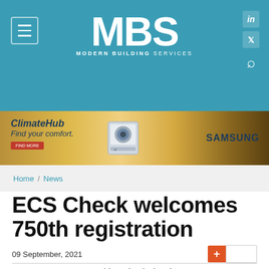MBS MODERN BUILDING SERVICES
[Figure (illustration): Samsung ClimateHub advertisement banner with AC unit image and text 'ClimateHub Find your comfort.']
Home / News
ECS Check welcomes 750th registration
09 September, 2021
[Figure (logo): ECS logo - three interlocking circular shapes in teal and green]
Braid Mechanical and